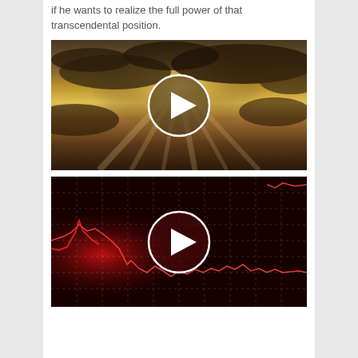if he wants to realize the full power of that transcendental position.
[Figure (photo): Video thumbnail of a dramatic sky with sunbeams breaking through clouds, with a play button overlay]
[Figure (photo): Video thumbnail of a red-tinted financial stock chart with grid lines and a play button overlay]